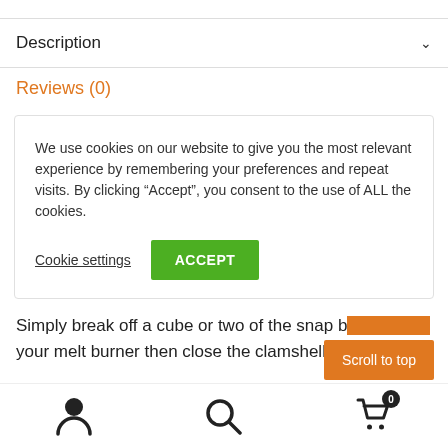Description
Reviews (0)
We use cookies on our website to give you the most relevant experience by remembering your preferences and repeat visits. By clicking “Accept”, you consent to the use of ALL the cookies.
Simply break off a cube or two of the snap bar, place in your melt burner then close the clamshell u…
Scroll to top